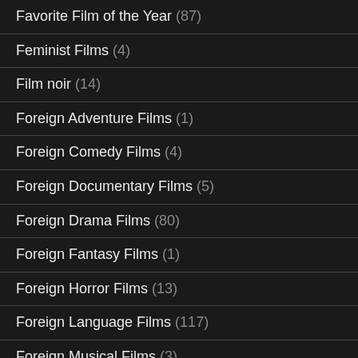Favorite Film of the Year (87)
Feminist Films (4)
Film noir (14)
Foreign Adventure Films (1)
Foreign Comedy Films (4)
Foreign Documentary Films (5)
Foreign Drama Films (80)
Foreign Fantasy Films (1)
Foreign Horror Films (13)
Foreign Language Films (117)
Foreign Musical Films (3)
Foreign Romance Films (2)
Foreign Romantic Comedy Films (1)